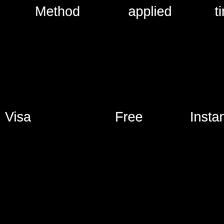| Method | applied | time | tr... |
| --- | --- | --- | --- |
|  |  |  | EU
10
00 |
| Visa | Free | Instant | US
10
00 |
|  |  |  | EU
10 |